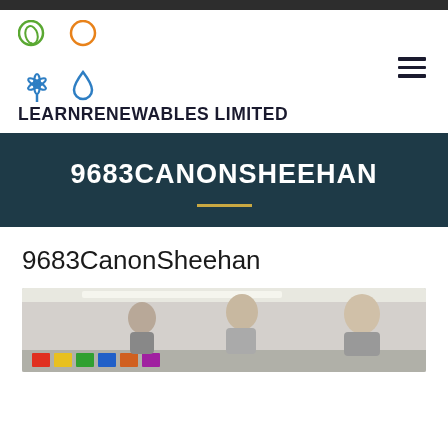LEARNRENEWABLES LIMITED
9683CANONSHEEHAN
9683CanonSheehan
[Figure (photo): Photo of children in a classroom setting, viewed from the side, with colorful displays visible in the background.]